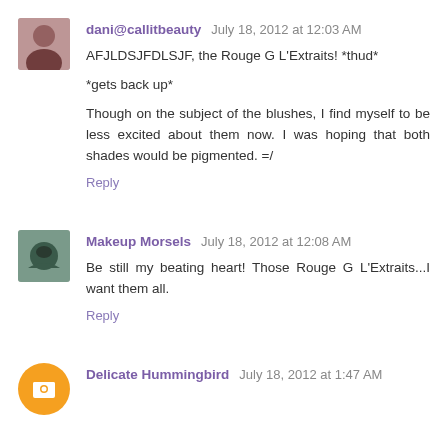dani@callitbeauty July 18, 2012 at 12:03 AM
AFJLDSJFDLSJF, the Rouge G L'Extraits! *thud*

*gets back up*

Though on the subject of the blushes, I find myself to be less excited about them now. I was hoping that both shades would be pigmented. =/
Reply
Makeup Morsels July 18, 2012 at 12:08 AM
Be still my beating heart! Those Rouge G L'Extraits...I want them all.
Reply
Delicate Hummingbird July 18, 2012 at 1:47 AM